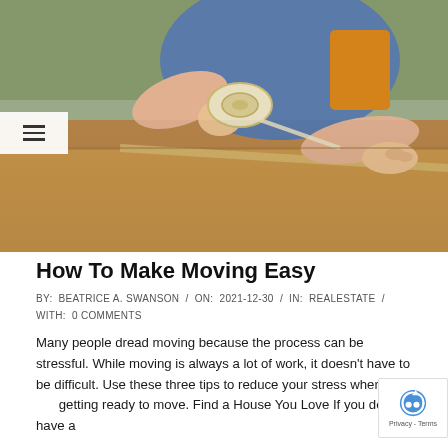[Figure (photo): Person taping a cardboard moving box with packing tape. Person wears a denim jacket and orange shirt. Close-up of hands and box.]
How To Make Moving Easy
BY:  BEATRICE A. SWANSON  /  ON:  2021-12-30  /  IN:  REALESTATE  /  WITH:  0 COMMENTS
Many people dread moving because the process can be stressful. While moving is always a lot of work, it doesn't have to be difficult. Use these three tips to reduce your stress when you getting ready to move. Find a House You Love If you don't have a